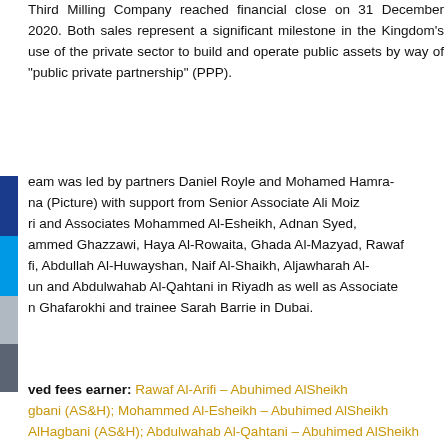Third Milling Company reached financial close on 31 December 2020. Both sales represent a significant milestone in the Kingdom's use of the private sector to build and operate public assets by way of "public private partnership" (PPP).
...eam was led by partners Daniel Royle and Mohamed Hamra-na (Picture) with support from Senior Associate Ali Moiz ri and Associates Mohammed Al-Esheikh, Adnan Syed, ammed Ghazzawi, Haya Al-Rowaita, Ghada Al-Mazyad, Rawaf fi, Abdullah Al-Huwayshan, Naif Al-Shaikh, Aljawharah Al-un and Abdulwahab Al-Qahtani in Riyadh as well as Associate n Ghafarokhi and trainee Sarah Barrie in Dubai.
...ved fees earner: Rawaf Al-Arifi – Abuhimed AlSheikh gbani (AS&H); Mohammed Al-Esheikh – Abuhimed AlSheikh AlHagbani (AS&H); Abdulwahab Al-Qahtani – Abuhimed AlSheikh AlHagbani (AS&H); Haya Al-Rowaita – Abuhimed AlSheikh AlHagbani (AS&H); Abdullah AlHuwayshan – Abuhimed AlSheikh AlHagbani (AS&H); Aljawharah AlSadoun – Clifford Chance; Arman Ghafarokhi – Clifford Chance; Mohammed Hamra-Kramer – Cliff...